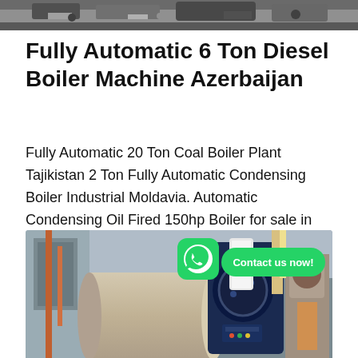[Figure (photo): Top strip showing industrial boiler machinery in a factory setting]
Fully Automatic 6 Ton Diesel Boiler Machine Azerbaijan
Fully Automatic 20 Ton Coal Boiler Plant Tajikistan 2 Ton Fully Automatic Condensing Boiler Industrial Moldavia. Automatic Condensing Oil Fired 150hp Boiler for sale in UAE. US $5000-$150000 100.0%. 5.0 (4) Contact...
Get Price
[Figure (photo): Industrial boiler machine in factory with WhatsApp contact icon and 'Contact us now!' bubble overlay]